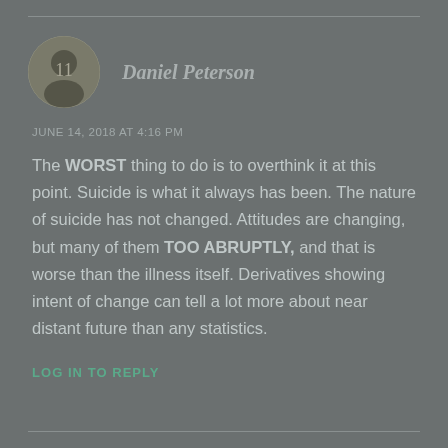[Figure (photo): Circular avatar photo of Daniel Peterson, grayscale portrait image]
Daniel Peterson
JUNE 14, 2018 AT 4:16 PM
The WORST thing to do is to overthink it at this point. Suicide is what it always has been. The nature of suicide has not changed. Attitudes are changing, but many of them TOO ABRUPTLY, and that is worse than the illness itself. Derivatives showing intent of change can tell a lot more about near distant future than any statistics.
LOG IN TO REPLY